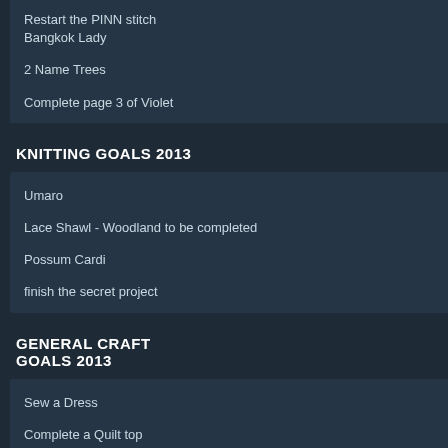through as much sewing / knitting / My position for the weekend was no my selections I think I ended up taki
Restart the PINN stitch Bangkok Lady
2 Name Trees
Complete page 3 of Violet
KNITTING GOALS 2013
Umaro
Lace Shawl - Woodland to be completed
Possum Cardi
finish the secret project
GENERAL CRAFT GOALS 2013
Sew a Dress
Complete a Quilt top
Make a T-Shirt Quilt from my favourite old shirts
Sew a paneled Aline Skirt
[Figure (photo): Photo of sewing machines and craft supplies on tables in a hall/community room setting, with a Janome sewing machine visible in the foreground and a wicker basket.]